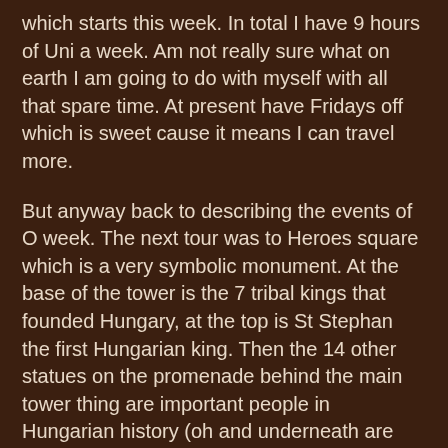which starts this week. In total I have 9 hours of Uni a week. Am not really sure what on earth I am going to do with myself with all that spare time. At present have Fridays off which is sweet cause it means I can travel more.
But anyway back to describing the events of O week. The next tour was to Heroes square which is a very symbolic monument. At the base of the tower is the 7 tribal kings that founded Hungary, at the top is St Stephan the first Hungarian king. Then the 14 other statues on the promenade behind the main tower thing are important people in Hungarian history (oh and underneath are geothermal vents that heat the main spa pools in Budapest). After viewing this great place we walked around the city park which is home to the most interesting castle. It has been added on to, and unlike normal they didn't stick to the architecture of the original design but every add on has new design so it looks like puzzle pieces that have just been forced together, very cool.
Went on the Parliament tour which was  amazing. The whole place is barricaded up as they are worried that  during the next independence day (March 15th), more riots will start.